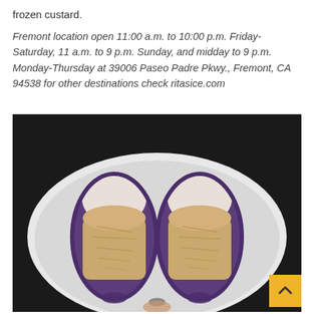frozen custard.
Fremont location open 11:00 a.m. to 10:00 p.m. Friday-Saturday, 11 a.m. to 9 p.m. Sunday, and midday to 9 p.m. Monday-Thursday at 39006 Paseo Padre Pkwy., Fremont, CA 94538 for other destinations check ritasice.com
[Figure (photo): A cross-section of two purple ube-colored frozen custard sandwiches or ice cream bars split in half, showing white cream on top and golden custard filling inside, placed on a white paper plate against a dark background.]